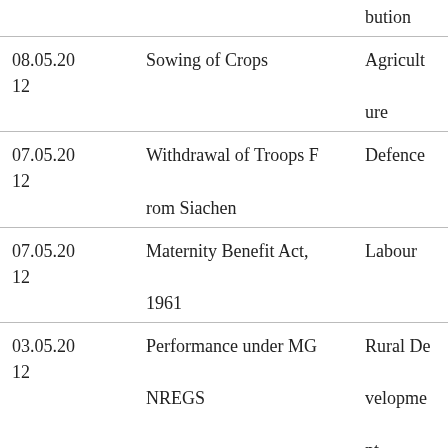| Date | Subject | Ministry/Department |
| --- | --- | --- |
|  |  | bution |
| 08.05.2012 | Sowing of Crops | Agriculture |
| 07.05.2012 | Withdrawal of Troops From Siachen | Defence |
| 07.05.2012 | Maternity Benefit Act, 1961 | Labour |
| 03.05.2012 | Performance under MGNREGS | Rural Development |